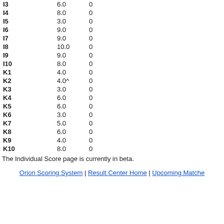|  |  |  |
| --- | --- | --- |
| I3 | 6.0 | 0 |
| I4 | 8.0 | 0 |
| I5 | 3.0 | 0 |
| I6 | 9.0 | 0 |
| I7 | 9.0 | 0 |
| I8 | 10.0 | 0 |
| I9 | 9.0 | 0 |
| I10 | 8.0 | 0 |
| K1 | 4.0 | 0 |
| K2 | 4.0^ | 0 |
| K3 | 3.0 | 0 |
| K4 | 6.0 | 0 |
| K5 | 6.0 | 0 |
| K6 | 3.0 | 0 |
| K7 | 5.0 | 0 |
| K8 | 6.0 | 0 |
| K9 | 4.0 | 0 |
| K10 | 8.0 | 0 |
The Individual Score page is currently in beta.
Orion Scoring System | Result Center Home | Upcoming Matches